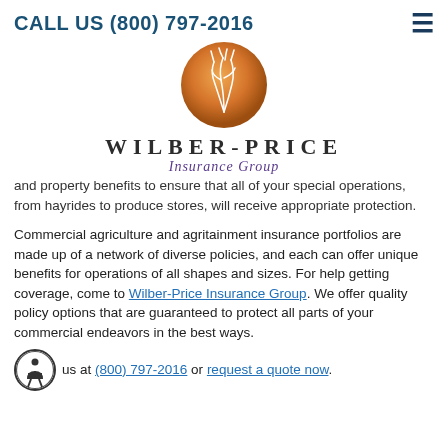CALL US (800) 797-2016
[Figure (logo): Wilber-Price Insurance Group logo: orange circle with wheat/grass illustration above the text WILBER-PRICE Insurance Group]
and property benefits to ensure that all of your special operations, from hayrides to produce stores, will receive appropriate protection.
Commercial agriculture and agritainment insurance portfolios are made up of a network of diverse policies, and each can offer unique benefits for operations of all shapes and sizes. For help getting coverage, come to Wilber-Price Insurance Group. We offer quality policy options that are guaranteed to protect all parts of your commercial endeavors in the best ways.
... us at (800) 797-2016 or request a quote now.